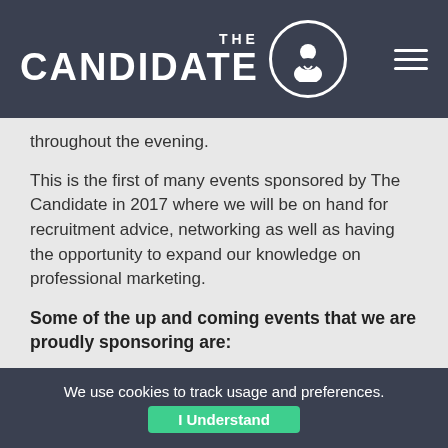THE CANDIDATE
throughout the evening.
This is the first of many events sponsored by The Candidate in 2017 where we will be on hand for recruitment advice, networking as well as having the opportunity to expand our knowledge on professional marketing.
Some of the up and coming events that we are proudly sponsoring are:
8th February 2017 – Get into Marketing, Liverpool
9th February 2017 – The relevance of a TV advertising career in our digital world, Manchester
We use cookies to track usage and preferences. I Understand